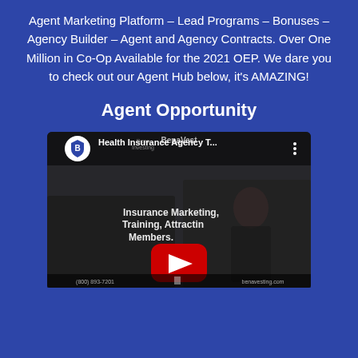Agent Marketing Platform – Lead Programs – Bonuses – Agency Builder – Agent and Agency Contracts. Over One Million in Co-Op Available for the 2021 OEP. We dare you to check out our Agent Hub below, it's AMAZING!
Agent Opportunity
[Figure (screenshot): YouTube video thumbnail showing 'Health Insurance Agency T...' with a woman in a dark blazer, text overlay reading 'Insurance Marketing, Training, Attracting Members.', a red YouTube play button in the center, BenaVest branding at the top, and contact info at the bottom.]